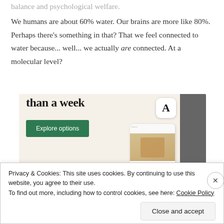balance and psychological welfare.
We humans are about 60% water. Our brains are more like 80%. Perhaps there's something in that? That we feel connected to water because... well... we actually are connected. At a molecular level?
[Figure (screenshot): Advertisement banner with text 'than a week', an 'Explore options' green button, a white mobile app screen showing food images and an app icon with letter A, and a dark photo strip on the right.]
Privacy & Cookies: This site uses cookies. By continuing to use this website, you agree to their use.
To find out more, including how to control cookies, see here: Cookie Policy
Close and accept